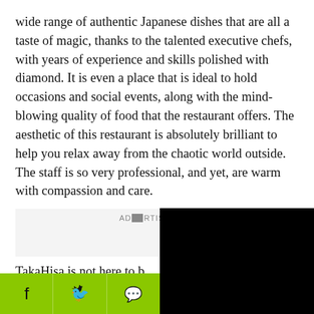wide range of authentic Japanese dishes that are all a taste of magic, thanks to the talented executive chefs, with years of experience and skills polished with diamond. It is even a place that is ideal to hold occasions and social events, along with the mind-blowing quality of food that the restaurant offers. The aesthetic of this restaurant is absolutely brilliant to help you relax away from the chaotic world outside. The staff is so very professional, and yet, are warm with compassion and care.
[Figure (screenshot): Advertisement overlay with video player showing black screen with red play button arrow and loading circle]
TakaHisa is not here to b... exists to serve the best ...
[Figure (infographic): Social share bar with Facebook, Twitter, and WhatsApp icons on green background]